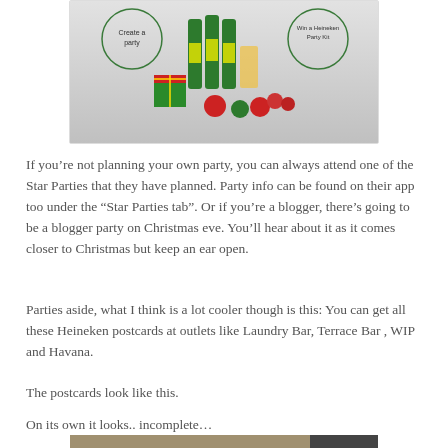[Figure (photo): Heineken promotional image showing green beer bottles with Christmas decorations (gift box, ornaments) and circular call-to-action overlays reading 'Create a party' and 'Win a Heineken Party Kit']
If you’re not planning your own party, you can always attend one of the Star Parties that they have planned. Party info can be found on their app too under the “Star Parties tab”. Or if you’re a blogger, there’s going to be a blogger party on Christmas eve. You’ll hear about it as it comes closer to Christmas but keep an ear open.
Parties aside, what I think is a lot cooler though is this: You can get all these Heineken postcards at outlets like Laundry Bar, Terrace Bar , WIP and Havana.
The postcards look like this.
On its own it looks.. incomplete…
[Figure (photo): Bottom portion of a postcard image, partially visible]